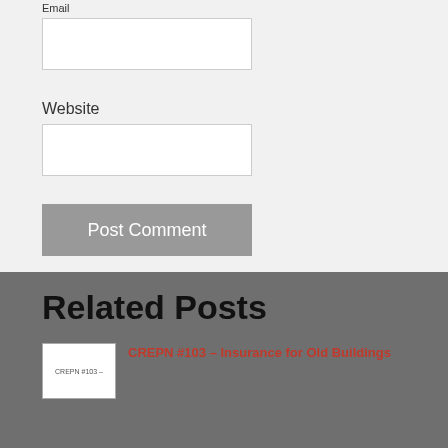Email
[Figure (screenshot): Email input text box, empty, white background with border]
Website
[Figure (screenshot): Website input text box, empty, white background with border]
Post Comment
Related Posts
[Figure (screenshot): Thumbnail image placeholder for CREPN #103 – Insurance for Old Buildings post]
CREPN #103 – Insurance for Old Buildings